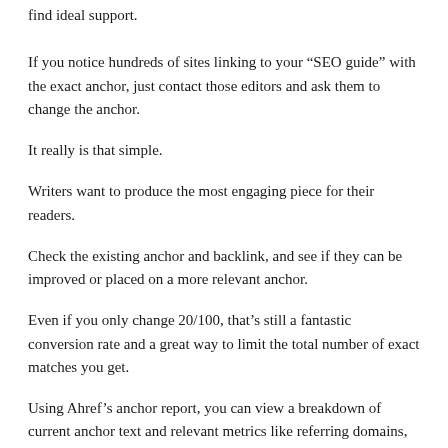find ideal support.
If you notice hundreds of sites linking to your “SEO guide” with the exact anchor, just contact those editors and ask them to change the anchor.
It really is that simple.
Writers want to produce the most engaging piece for their readers.
Check the existing anchor and backlink, and see if they can be improved or placed on a more relevant anchor.
Even if you only change 20/100, that’s still a fantastic conversion rate and a great way to limit the total number of exact matches you get.
Using Ahref’s anchor report, you can view a breakdown of current anchor text and relevant metrics like referring domains, followed or unfollowed links, and more.
When looking to earn or build links, you can also diversify the possibility of linking to your article.